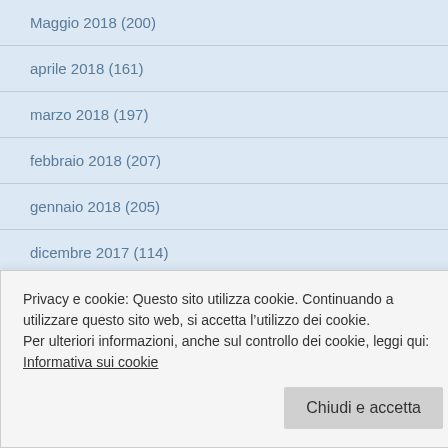Maggio 2018 (200)
aprile 2018 (161)
marzo 2018 (197)
febbraio 2018 (207)
gennaio 2018 (205)
dicembre 2017 (114)
novembre 2017 (80)
ottobre 2017 (148)
settembre 2017 (121)
agosto 2017 (104)
Privacy e cookie: Questo sito utilizza cookie. Continuando a utilizzare questo sito web, si accetta l’utilizzo dei cookie.
Per ulteriori informazioni, anche sul controllo dei cookie, leggi qui:
Informativa sui cookie
Chiudi e accetta